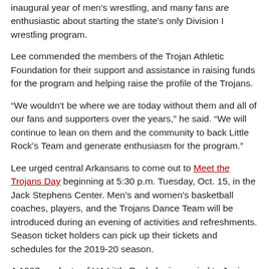inaugural year of men's wrestling, and many fans are enthusiastic about starting the state's only Division I wrestling program.
Lee commended the members of the Trojan Athletic Foundation for their support and assistance in raising funds for the program and helping raise the profile of the Trojans.
“We wouldn't be where we are today without them and all of our fans and supporters over the years,” he said. “We will continue to lean on them and the community to back Little Rock’s Team and generate enthusiasm for the program.”
Lee urged central Arkansans to come out to Meet the Trojans Day beginning at 5:30 p.m. Tuesday, Oct. 15, in the Jack Stephens Center. Men’s and women's basketball coaches, players, and the Trojans Dance Team will be introduced during an evening of activities and refreshments. Season ticket holders can pick up their tickets and schedules for the 2019-20 season.
A 1987 graduate of UA Little Rock, he is married to Joni Lee, UA Little Rock vice chancellor of University Affairs. They have two